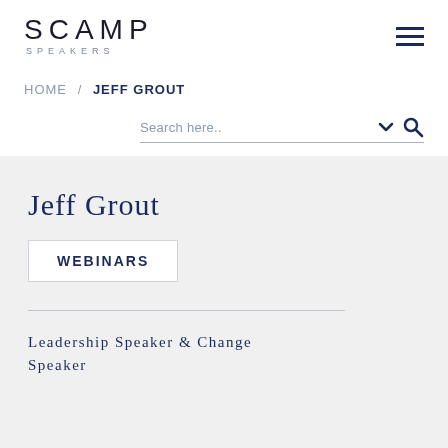[Figure (logo): SCAMP SPEAKERS logo — large sans-serif uppercase letters 'SCAMP' with smaller spaced 'SPEAKERS' subtitle below]
[Figure (other): Hamburger menu icon — three horizontal dark navy lines]
HOME / JEFF GROUT
Search here..
Jeff Grout
WEBINARS
Leadership Speaker & Change Speaker